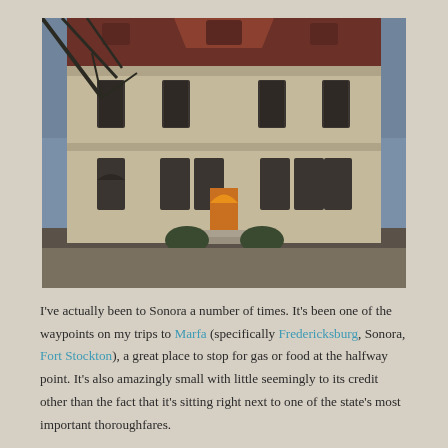[Figure (photo): Photograph of a historic limestone courthouse building with a mansard-style red roof, multiple tall arched windows, and an illuminated arched entrance. Tree branches visible in upper left, dusk sky in background.]
I've actually been to Sonora a number of times. It's been one of the waypoints on my trips to Marfa (specifically Fredericksburg, Sonora, Fort Stockton), a great place to stop for gas or food at the halfway point. It's also amazingly small with little seemingly to its credit other than the fact that it's sitting right next to one of the state's most important thoroughfares.